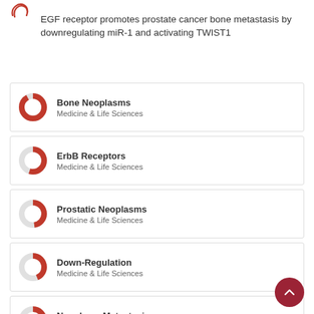EGF receptor promotes prostate cancer bone metastasis by downregulating miR-1 and activating TWIST1
Bone Neoplasms — Medicine & Life Sciences
ErbB Receptors — Medicine & Life Sciences
Prostatic Neoplasms — Medicine & Life Sciences
Down-Regulation — Medicine & Life Sciences
Neoplasm Metastasis — Medicine & Life Sciences